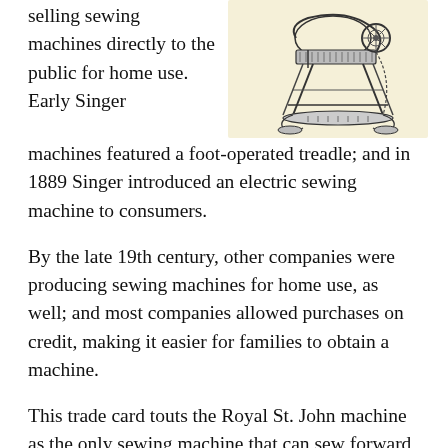selling sewing machines directly to the public for home use. Early Singer machines featured a foot-operated treadle; and in 1889 Singer introduced an electric sewing machine to consumers.
[Figure (illustration): Vintage illustration of a treadle sewing machine with ornate cast-iron frame and foot pedal, shown from a side-front angle against a cream/tan background.]
By the late 19th century, other companies were producing sewing machines for home use, as well; and most companies allowed purchases on credit, making it easier for families to obtain a machine.
This trade card touts the Royal St. John machine as the only sewing machine that can sew forward or backward:
COME AND TRY